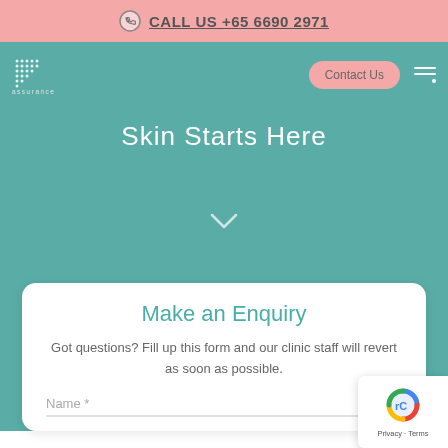CALL US +65 6690 2971
[Figure (logo): Assurance Skin and Aesthetics clinic logo with dot pattern and text]
Contact Us
Skin Starts Here
Make an Enquiry
Got questions? Fill up this form and our clinic staff will revert as soon as possible.
Name *